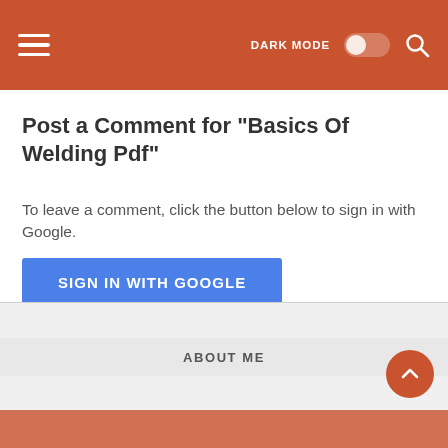≡  DARK MODE  [toggle]  🔍
Post a Comment for "Basics Of Welding Pdf"
To leave a comment, click the button below to sign in with Google.
SIGN IN WITH GOOGLE
ABOUT ME